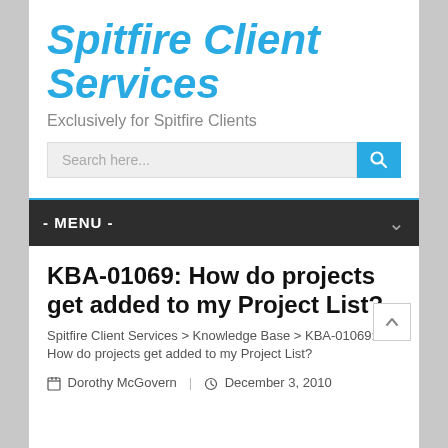Spitfire Client Services
Exclusively for Spitfire Clients
[Figure (screenshot): Search bar with input field labeled 'Search here...' and a blue search button with magnifying glass icon]
- MENU -
KBA-01069: How do projects get added to my Project List?
Spitfire Client Services > Knowledge Base > KBA-01069: How do projects get added to my Project List?
Dorothy McGovern | December 3, 2010